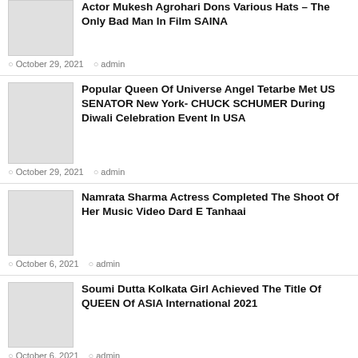Actor Mukesh Agrohari Dons Various Hats – The Only Bad Man In Film SAINA
October 29, 2021   admin
Popular Queen Of Universe Angel Tetarbe Met US SENATOR New York- CHUCK SCHUMER During Diwali Celebration Event In USA
October 29, 2021   admin
Namrata Sharma Actress Completed The Shoot Of Her Music Video Dard E Tanhaai
October 6, 2021   admin
Soumi Dutta Kolkata Girl Achieved The Title Of QUEEN Of ASIA International 2021
October 6, 2021   admin